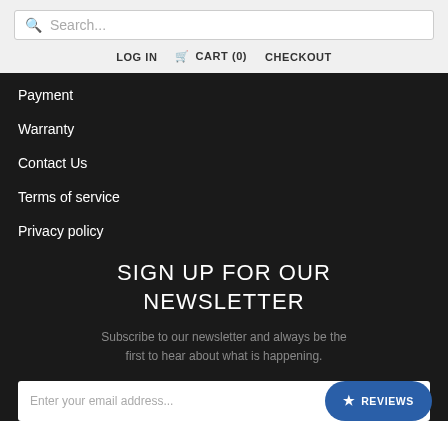Search...
LOG IN  CART (0)  CHECKOUT
Payment
Warranty
Contact Us
Terms of service
Privacy policy
SIGN UP FOR OUR NEWSLETTER
Subscribe to our newsletter and always be the first to hear about what is happening.
Enter your email address...
★ REVIEWS